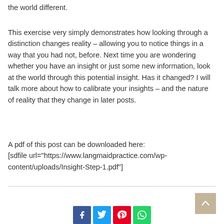the world different.
This exercise very simply demonstrates how looking through a distinction changes reality – allowing you to notice things in a way that you had not, before. Next time you are wondering whether you have an insight or just some new information, look at the world through this potential insight. Has it changed? I will talk more about how to calibrate your insights – and the nature of reality that they change in later posts.
A pdf of this post can be downloaded here:
[sdfile url="https://www.langmaidpractice.com/wp-content/uploads/Insight-Step-1.pdf"]